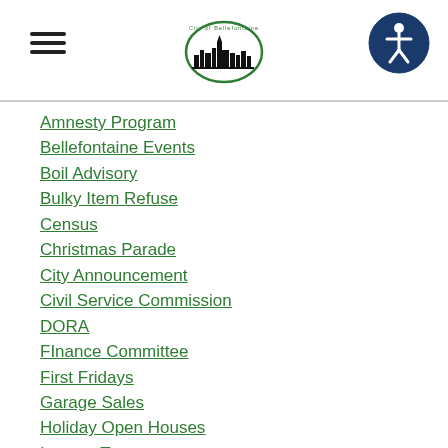[Figure (logo): City of Bellefontaine logo with city skyline silhouette in black and green circle text]
[Figure (illustration): Hamburger menu icon — three horizontal black bars]
[Figure (illustration): Accessibility icon — blue circle with white wheelchair-accessible person symbol]
Amnesty Program
Bellefontaine Events
Boil Advisory
Bulky Item Refuse
Census
Christmas Parade
City Announcement
Civil Service Commission
DORA
FInance Committee
First Fridays
Garage Sales
Holiday Open Houses
Income Tax
Leaf Pick Up
Logan County Health District
Municipal Court
Office Of The Mayor
Online Bill Pay